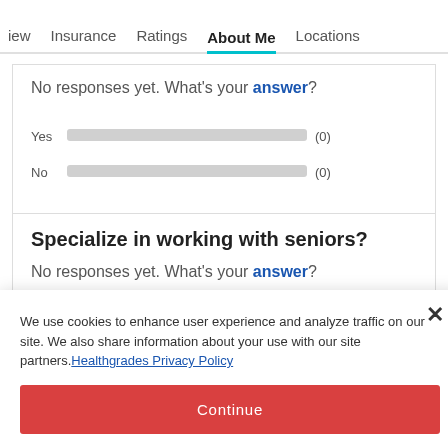iew   Insurance   Ratings   About Me   Locations
No responses yet. What's your answer?
[Figure (bar-chart): Yes/No poll results]
Specialize in working with seniors?
No responses yet. What's your answer?
We use cookies to enhance user experience and analyze traffic on our site. We also share information about your use with our site partners. Healthgrades Privacy Policy
Continue
Access my Privacy Preferences